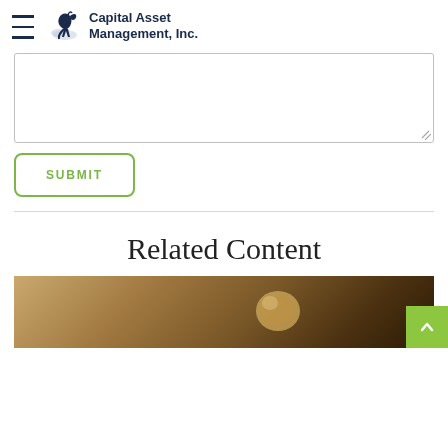Capital Asset Management, Inc.
[Figure (screenshot): Textarea input box with resize handle at bottom right]
SUBMIT
Related Content
[Figure (photo): Close-up image of coins on a warm brown/tan surface]